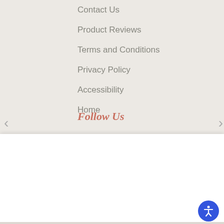Contact Us
Product Reviews
Terms and Conditions
Privacy Policy
Accessibility
Home
Follow Us
This website uses cookies to ensure you get the best experience.  Learn more
Preferences
Accept